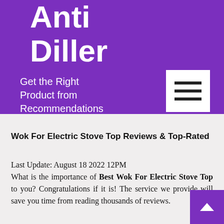Anti Diller
Get the Right Product from Recommendations
Wok For Electric Stove Top Reviews & Top-Rated
Last Update: August 18 2022 12PM
What is the importance of Best Wok For Electric Stove Top to you? Congratulations if it is! The service we provide will save you time from reading thousands of reviews.